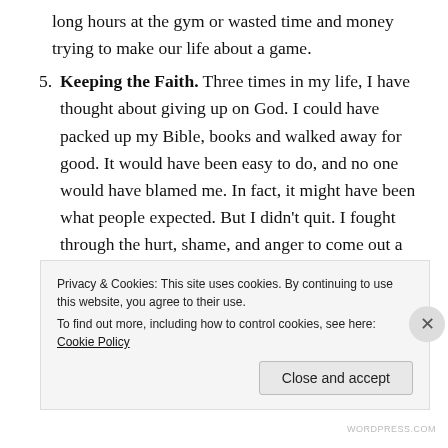long hours at the gym or wasted time and money trying to make our life about a game.
5. Keeping the Faith. Three times in my life, I have thought about giving up on God. I could have packed up my Bible, books and walked away for good. It would have been easy to do, and no one would have blamed me. In fact, it might have been what people expected. But I didn't quit. I fought through the hurt, shame, and anger to come out a better person. I am far happier about my faith today than any other point in my life. I have people who care and support me while
Privacy & Cookies: This site uses cookies. By continuing to use this website, you agree to their use.
To find out more, including how to control cookies, see here: Cookie Policy